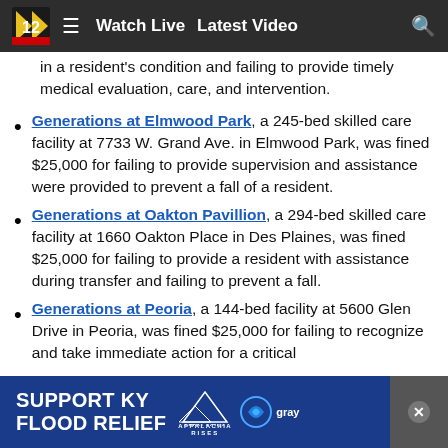[Figure (screenshot): News website navigation bar with channel 12 logo, hamburger menu, Watch Live and Latest Video links, and search icon on dark background]
in a resident's condition and failing to provide timely medical evaluation, care, and intervention.
Generations at Elmwood Park, a 245-bed skilled care facility at 7733 W. Grand Ave. in Elmwood Park, was fined $25,000 for failing to provide supervision and assistance were provided to prevent a fall of a resident.
Generations at Oakton Pavillion, a 294-bed skilled care facility at 1660 Oakton Place in Des Plaines, was fined $25,000 for failing to provide a resident with assistance during transfer and failing to prevent a fall.
Generations at Peoria, a 144-bed facility at 5600 Glen Drive in Peoria, was fined $25,000 for failing to recognize and take immediate action for a critical change...
[Figure (infographic): Support KY Flood Relief advertisement banner with Appalachia Rises text and Gray Television logo]